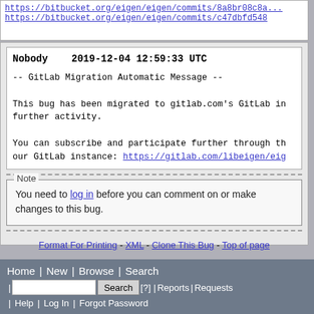https://bitbucket.org/eigen/eigen/commits/8a8br08c8a...
https://bitbucket.org/eigen/eigen/commits/c47dbfd548
Nobody    2019-12-04 12:59:33 UTC

-- GitLab Migration Automatic Message --

This bug has been migrated to gitlab.com's GitLab in further activity.

You can subscribe and participate further through the our GitLab instance: https://gitlab.com/libeigen/eig
Note
You need to log in before you can comment on or make changes to this bug.
Format For Printing - XML - Clone This Bug - Top of page
Home | New | Browse | Search
| [search box] Search [?] | Reports | Requests
| Help | Log In | Forgot Password